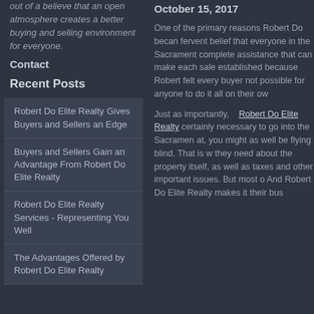out of a believe that an open atmosphere creates a better buying and selling environment for everyone.
Contact
Recent Posts
Robert Do Elite Realty Gives Buyers and Sellers an Edge
Buyers and Sellers Gain an Advantage From Robert Do Elite Realty
Robert Do Elite Realty Services - Representing You Well
The Advantages Offered by Robert Do Elite Realty
October 15, 2017
One of the primary reasons Robert Do becan fervent belief that everyone in the Sacrament complete assistance that can make each sale established because Robert felt every buyer not possible for anyone to do it all on their ow
Just as importantly,  Robert Do Elite Realty certainly necessary to go into the Sacramen at, you might as well be flying blind. That is w they need about the property itself, as well as taxes and other important issues. But most o And Robert Do Elite Realty makes it their bus